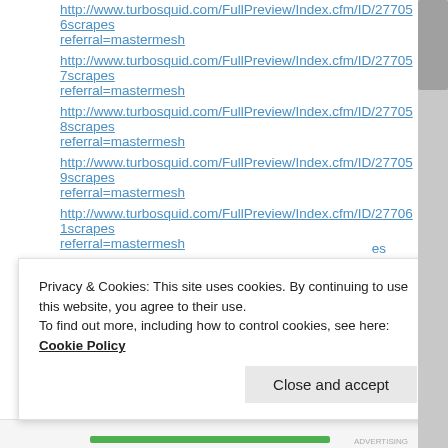http://www.turbosquid.com/FullPreview/Index.cfm/ID/277056scrapes referral=mastermesh
http://www.turbosquid.com/FullPreview/Index.cfm/ID/277057scrapes referral=mastermesh
http://www.turbosquid.com/FullPreview/Index.cfm/ID/277058scrapes referral=mastermesh
http://www.turbosquid.com/FullPreview/Index.cfm/ID/277059scrapes referral=mastermesh
http://www.turbosquid.com/FullPreview/Index.cfm/ID/277061scrapes referral=mastermesh
http://www.turbosquid.com/FullPreview/Index.cfm/ID/277062scrapes referral=mastermesh
http://www.turbosquid.com/FullPreview/Index.cfm/ID/277063scrapes referral=mastermesh
http://www.turbosquid.com/FullPreview/Index.cfm/ID/277064scrapes
Privacy & Cookies: This site uses cookies. By continuing to use this website, you agree to their use. To find out more, including how to control cookies, see here: Cookie Policy